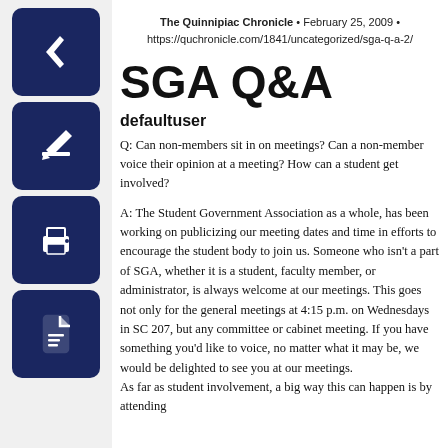[Figure (screenshot): Four dark navy blue icon buttons stacked vertically on the left sidebar: back arrow, edit/pencil, print, and PDF document icons.]
The Quinnipiac Chronicle • February 25, 2009 • https://quchronicle.com/1841/uncategorized/sga-q-a-2/
SGA Q&A
defaultuser
Q: Can non-members sit in on meetings? Can a non-member voice their opinion at a meeting? How can a student get involved?
A: The Student Government Association as a whole, has been working on publicizing our meeting dates and time in efforts to encourage the student body to join us. Someone who isn't a part of SGA, whether it is a student, faculty member, or administrator, is always welcome at our meetings. This goes not only for the general meetings at 4:15 p.m. on Wednesdays in SC 207, but any committee or cabinet meeting. If you have something you'd like to voice, no matter what it may be, we would be delighted to see you at our meetings.
As far as student involvement, a big way this can happen is by attending